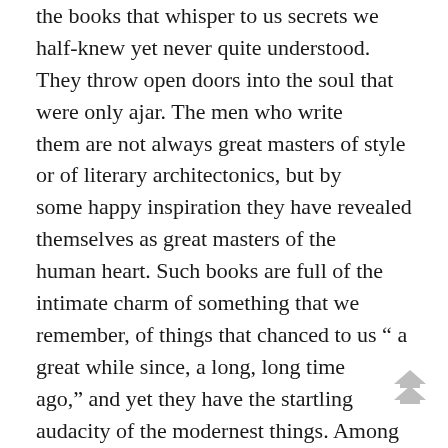the books that whisper to us secrets we half-knew yet never quite understood. They throw open doors into the soul that were only ajar. The men who write them are not always great masters of style or of literary architectonics, but by some happy inspiration they have revealed themselves as great masters of the human heart. Such books are full of the intimate charm of something that we remember, of things that chanced to us " a great while since, a long, long time ago," and yet they have the startling audacity of the modernest things. Among them are "Manon Lescaut," "Adolphe," "Le Rouge et le Noir," some of Dostoieffsky's novels. If any of Mr. Hardy's novels may claim to be compared with the immortals it is the books of this class